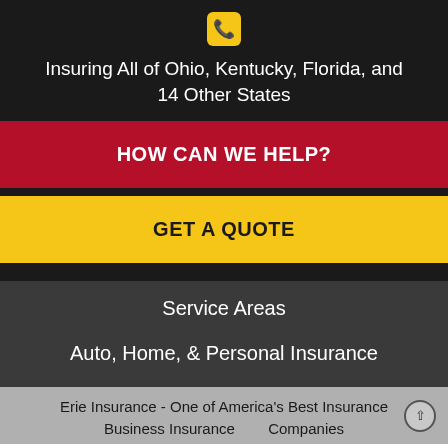[Figure (logo): Phone handset icon in a yellow rounded square]
Insuring All of Ohio, Kentucky, Florida, and 14 Other States
HOW CAN WE HELP?
GET A QUOTE
Service Areas
Auto, Home, & Personal Insurance
Erie Insurance - One of America's Best Insurance Companies
Business Insurance